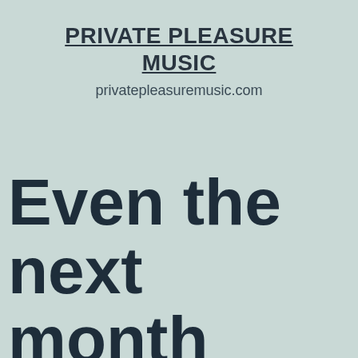PRIVATE PLEASURE MUSIC
privatepleasuremusic.com
Even the next month here company role also